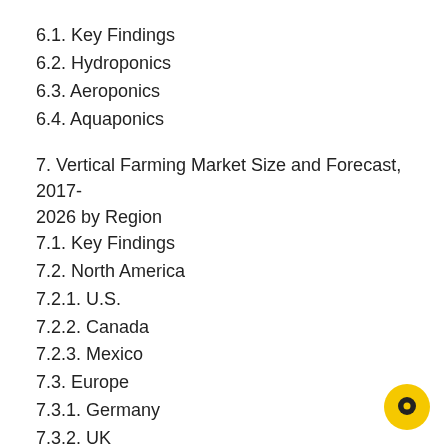6.1. Key Findings
6.2. Hydroponics
6.3. Aeroponics
6.4. Aquaponics
7. Vertical Farming Market Size and Forecast, 2017-2026 by Region
7.1. Key Findings
7.2. North America
7.2.1. U.S.
7.2.2. Canada
7.2.3. Mexico
7.3. Europe
7.3.1. Germany
7.3.2. UK
7.3.3. France
7.3.4. Italy